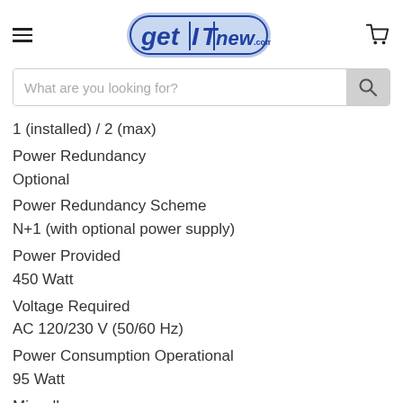getITnew.com
1 (installed) / 2 (max)
Power Redundancy
Optional
Power Redundancy Scheme
N+1 (with optional power supply)
Power Provided
450 Watt
Voltage Required
AC 120/230 V (50/60 Hz)
Power Consumption Operational
95 Watt
Miscellaneous